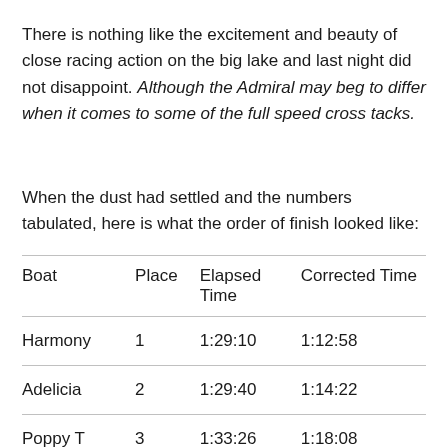There is nothing like the excitement and beauty of close racing action on the big lake and last night did not disappoint. Although the Admiral may beg to differ when it comes to some of the full speed cross tacks.
When the dust had settled and the numbers tabulated, here is what the order of finish looked like:
| Boat | Place | Elapsed Time | Corrected Time |
| --- | --- | --- | --- |
| Harmony | 1 | 1:29:10 | 1:12:58 |
| Adelicia | 2 | 1:29:40 | 1:14:22 |
| Poppy T | 3 | 1:33:26 | 1:18:08 |